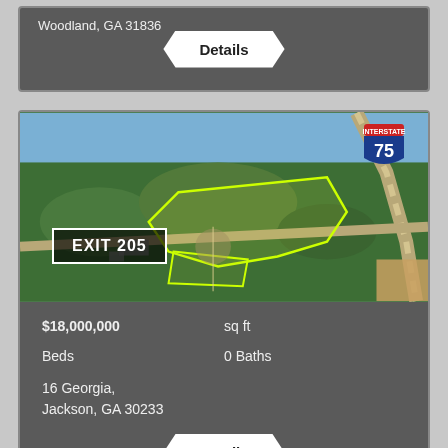Woodland, GA 31836
Details
[Figure (photo): Aerial drone photo of land parcel near Interstate 75, Exit 205, showing wooded acreage outlined in yellow/green, with a highway interchange visible. Interstate 75 shield sign overlay in top right. EXIT 205 sign overlay at bottom left.]
$18,000,000
sq ft
Beds
0 Baths
16 Georgia,
Jackson, GA 30233
Details